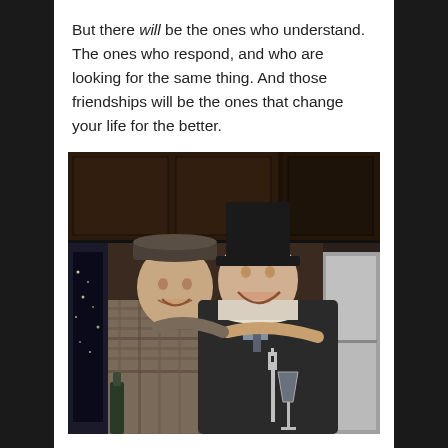But there will be the ones who understand. The ones who respond, and who are looking for the same thing. And those friendships will be the ones that change your life for the better.
[Figure (photo): Two older men smiling and posing together in a kitchen setting. The man on the left wears a plaid shirt and flat cap. The man on the right wears a black shirt, black top hat, and holds a fork with a champagne glass.]